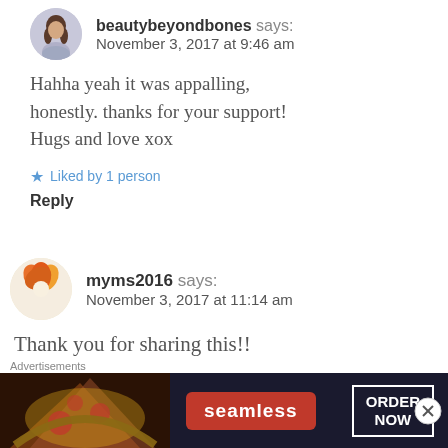[Figure (photo): Avatar of user beautybeyondbones - woman with long dark hair]
beautybeyondbones says:
November 3, 2017 at 9:46 am
Hahha yeah it was appalling, honestly. thanks for your support! Hugs and love xox
Liked by 1 person
Reply
[Figure (photo): Avatar of user myms2016 - orange flower/leaf design]
myms2016 says:
November 3, 2017 at 11:14 am
Thank you for sharing this!!
Advertisements
[Figure (photo): Seamless food delivery advertisement banner with pizza image, Seamless logo and ORDER NOW button]